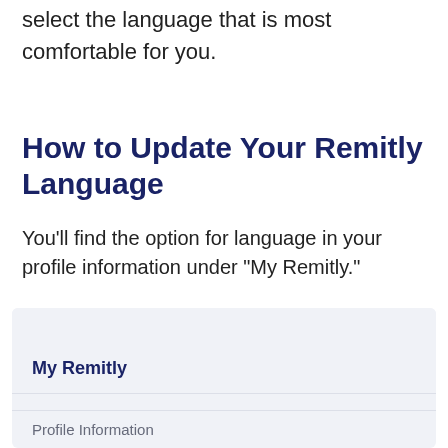select the language that is most comfortable for you.
How to Update Your Remitly Language
You'll find the option for language in your profile information under “My Remitly.”
[Figure (screenshot): Screenshot of a Remitly app interface showing a section labeled 'My Remitly' with a 'Profile Information' row beneath it on a light gray background.]